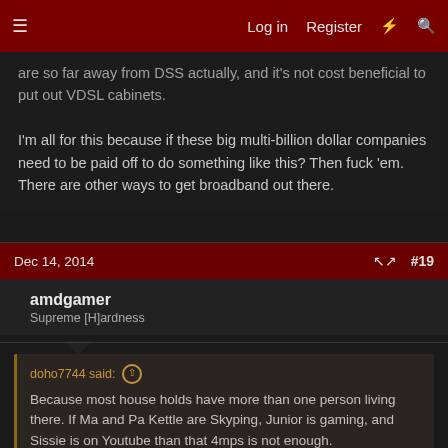Log in  Register  #19
are so far away from DSS actually, and it's not cost beneficial to put out VDSL cabinets.

I'm all for this because if these big multi-billion dollar companies need to be paid off to do something like this? Then fuck 'em. There are other ways to get broadband out there.
Dec 14, 2014  #19
amdgamer
Supreme [H]ardness
doho7744 said:
Because most house holds have more than one person living there. If Ma and Pa Kettle are Skyping, Junior is gaming, and Sissie is on Youtube than that 4mps is not enough.